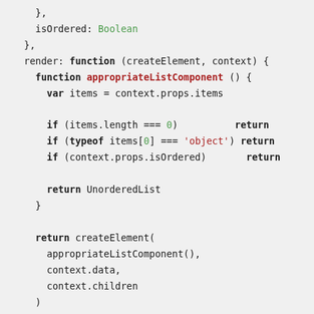[Figure (screenshot): Code snippet showing JavaScript/JSX render function with appropriateListComponent helper function, using monospace font on light gray background. Shows conditionals checking items.length, typeof items[0], and context.props.isOrdered before returning UnorderedList, then returns createElement call.]